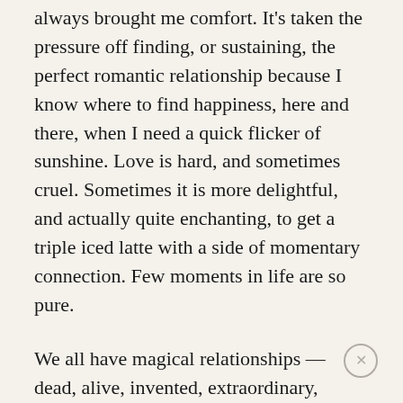always brought me comfort. It's taken the pressure off finding, or sustaining, the perfect romantic relationship because I know where to find happiness, here and there, when I need a quick flicker of sunshine. Love is hard, and sometimes cruel. Sometimes it is more delightful, and actually quite enchanting, to get a triple iced latte with a side of momentary connection. Few moments in life are so pure.
We all have magical relationships — dead, alive, invented, extraordinary, innocuous — and they all have the power to make our hearts dance. You only need to be mindful that they're everywhere and intentional about holding them dear. No one, not even the object of your affection, ever needs to know how you feel. Because there are some things that are just between you and... [faded/cut off]